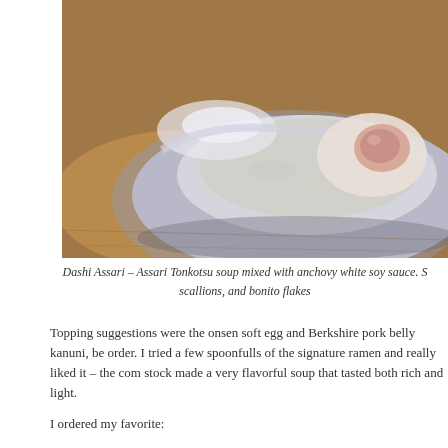[Figure (photo): Close-up photo of a ceramic bowl containing a soft egg in a light broth, placed on a wooden surface. The bowl has an irregular, artisan shape with a glossy glaze.]
Dashi Assari – Assari Tonkotsu soup mixed with anchovy white soy sauce. S scallions, and bonito flakes
Topping suggestions were the onsen soft egg and Berkshire pork belly kanuni, be order. I tried a few spoonfulls of the signature ramen and really liked it – the com stock made a very flavorful soup that tasted both rich and light.
I ordered my favorite: